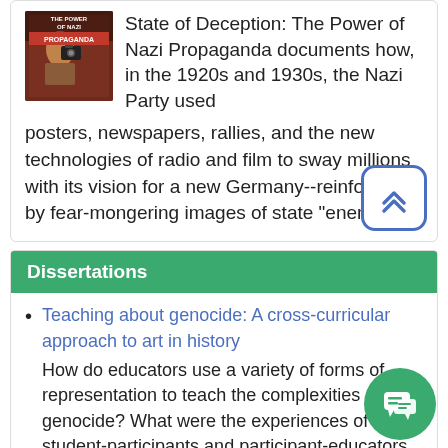[Figure (photo): Book cover for 'The Power of Nazi Propaganda' with dark red/brown cover and a person holding a camera]
State of Deception: The Power of Nazi Propaganda documents how, in the 1920s and 1930s, the Nazi Party used posters, newspapers, rallies, and the new technologies of radio and film to sway millions with its vision for a new Germany--reinforced by fear-mongering images of state "enemies."
Dissertations
Teaching about genocide: A cross-curricular approach to art in history
How do educators use a variety of forms of representation to teach the complexities of genocide? What were the experiences of student-participants and participant-educators engaged in